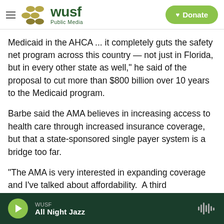WUSF Public Media — Donate
Medicaid in the AHCA ... it completely guts the safety net program across this country — not just in Florida, but in every other state as well," he said of the proposal to cut more than $800 billion over 10 years to the Medicaid program.
Barbe said the AMA believes in increasing access to health care through increased insurance coverage, but that a state-sponsored single payer system is a bridge too far.
“The AMA is very interested in expanding coverage and I’ve talked about affordability.  A third
WUSF — All Night Jazz